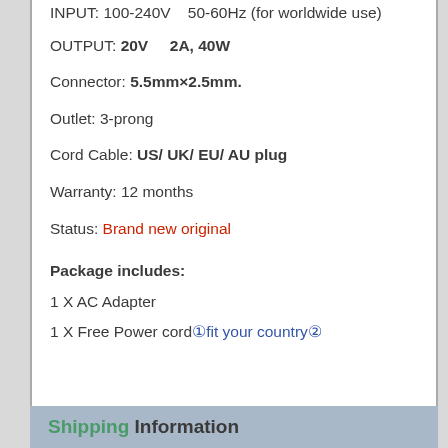INPUT: 100-240V  50-60Hz (for worldwide use)
OUTPUT: 20V  2A, 40W
Connector: 5.5mm×2.5mm.
Outlet: 3-prong
Cord Cable: US/ UK/ EU/ AU plug
Warranty: 12 months
Status: Brand new original
Package includes:
1 X AC Adapter
1 X Free Power cord①fit your country②
Shipping Information